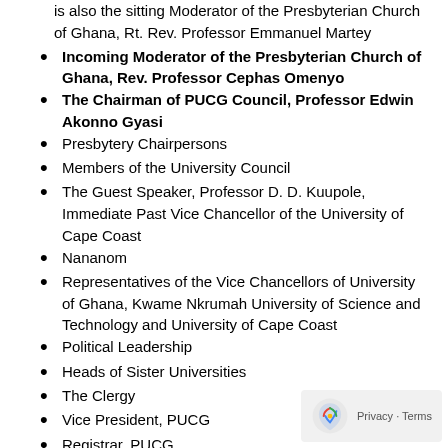is also the sitting Moderator of the Presbyterian Church of Ghana, Rt. Rev. Professor Emmanuel Martey
Incoming Moderator of the Presbyterian Church of Ghana, Rev. Professor Cephas Omenyo
The Chairman of PUCG Council, Professor Edwin Akonno Gyasi
Presbytery Chairpersons
Members of the University Council
The Guest Speaker, Professor D. D. Kuupole, Immediate Past Vice Chancellor of the University of Cape Coast
Nananom
Representatives of the Vice Chancellors of University of Ghana, Kwame Nkrumah University of Science and Technology and University of Cape Coast
Political Leadership
Heads of Sister Universities
The Clergy
Vice President, PUCG
Registrar, PUCG
Director of Finance
Deans of Faculty